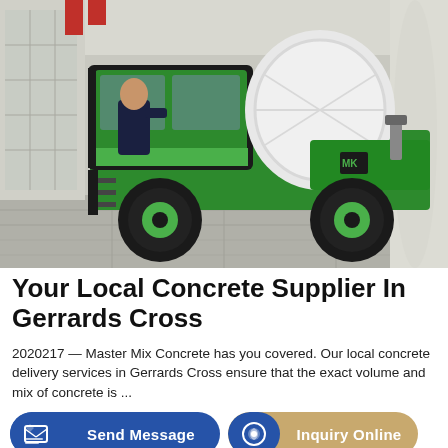[Figure (photo): A green concrete mixer truck (self-loading type) parked indoors in a large exhibition hall. A man in a dark suit is seated in the open cab. The truck has large black tires with green rims and a white rotating drum. Tall columns and windows are visible in the background.]
Your Local Concrete Supplier In Gerrards Cross
2020217 — Master Mix Concrete has you covered. Our local concrete delivery services in Gerrards Cross ensure that the exact volume and mix of concrete is ...
Send Message
Inquiry Online